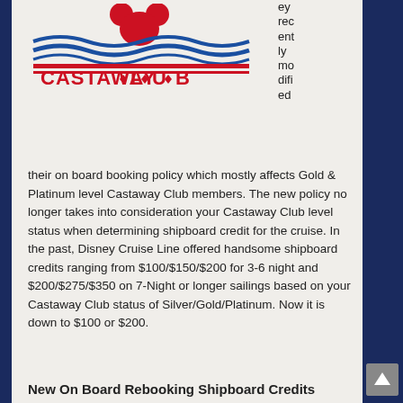[Figure (logo): Castaway Club Disney Cruise Line logo with Mickey Mouse ears and waves]
ey recently modified their on board booking policy which mostly affects Gold & Platinum level Castaway Club members. The new policy no longer takes into consideration your Castaway Club level status when determining shipboard credit for the cruise. In the past, Disney Cruise Line offered handsome shipboard credits ranging from $100/$150/$200 for 3-6 night and $200/$275/$350 on 7-Night or longer sailings based on your Castaway Club status of Silver/Gold/Platinum. Now it is down to $100 or $200.
New On Board Rebooking Shipboard Credits